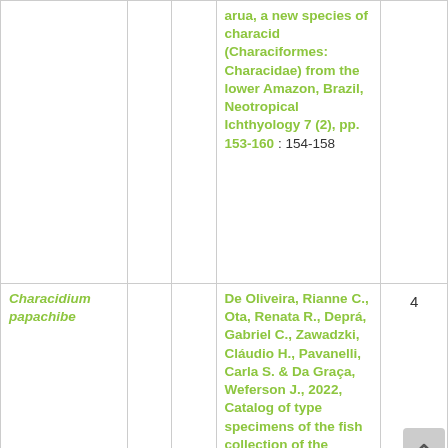| Species |  |  | Reference | Count |
| --- | --- | --- | --- | --- |
|  |  |  | arua, a new species of characid (Characiformes: Characidae) from the lower Amazon, Brazil, Neotropical Ichthyology 7 (2), pp. 153-160 : 154-158 |  |
| Characidium papachibe |  |  | De Oliveira, Rianne C., Ota, Renata R., Deprá, Gabriel C., Zawadzki, Cláudio H., Pavanelli, Carla S. & Da Graça, Weferson J., 2022, Catalog of type specimens of the fish collection of the | 4 |